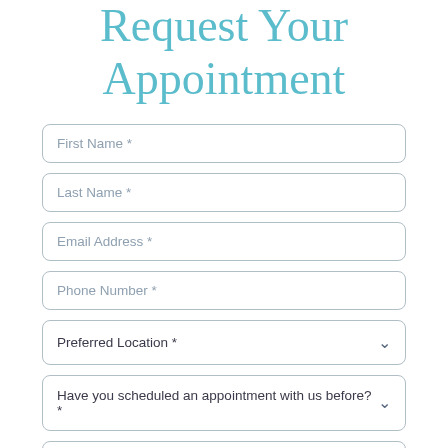Request Your Appointment
First Name *
Last Name *
Email Address *
Phone Number *
Preferred Location *
Have you scheduled an appointment with us before?
Message